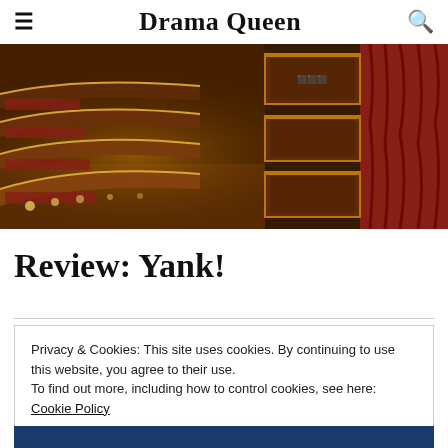Drama Queen
[Figure (photo): Interior of an ornate theater showing red velvet seating tiers, gilded balconies, and stage with red curtain, lit with warm gold lighting.]
Review: Yank!
Privacy & Cookies: This site uses cookies. By continuing to use this website, you agree to their use.
To find out more, including how to control cookies, see here: Cookie Policy
Close and accept